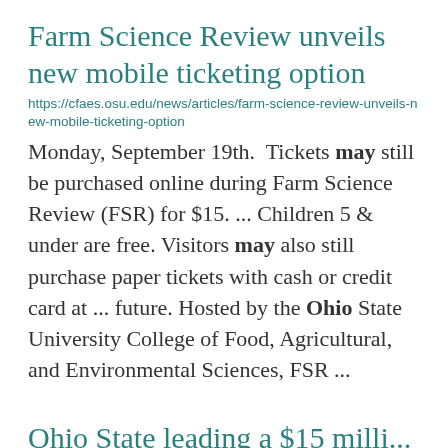Farm Science Review unveils new mobile ticketing option
https://cfaes.osu.edu/news/articles/farm-science-review-unveils-new-mobile-ticketing-option
Monday, September 19th.  Tickets may still be purchased online during Farm Science Review (FSR) for $15. ... Children 5 & under are free. Visitors may also still purchase paper tickets with cash or credit card at ... future. Hosted by the Ohio State University College of Food, Agricultural, and Environmental Sciences, FSR ...
Ohio State leading a $15 milli...